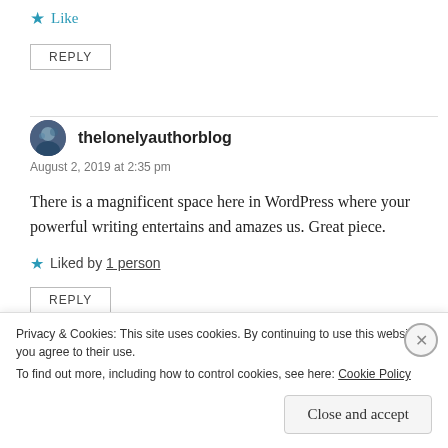★ Like
REPLY
thelonelyauthorblog
August 2, 2019 at 2:35 pm
There is a magnificent space here in WordPress where your powerful writing entertains and amazes us. Great piece.
★ Liked by 1 person
REPLY
Privacy & Cookies: This site uses cookies. By continuing to use this website, you agree to their use.
To find out more, including how to control cookies, see here: Cookie Policy
Close and accept